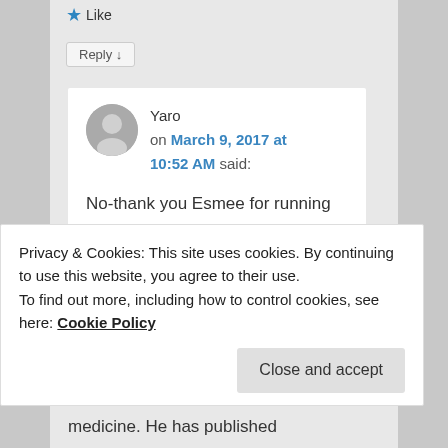Like
Reply ↓
Yaro on March 9, 2017 at 10:52 AM said:
No-thank you Esmee for running useful website with wonderful info..Gob bless you for that..also I d like to correct-in case someone would google his name-its
Privacy & Cookies: This site uses cookies. By continuing to use this website, you agree to their use.
To find out more, including how to control cookies, see here: Cookie Policy
Close and accept
medicine. He has published